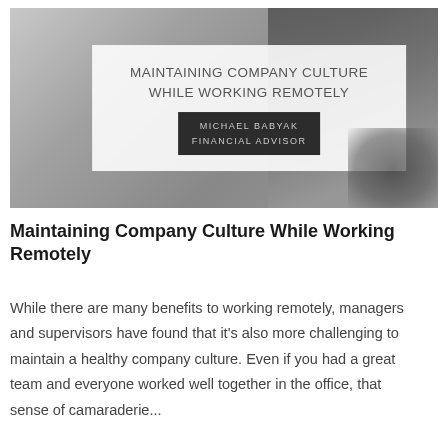[Figure (photo): Hero image of a laptop keyboard with earbuds and a notebook on a desk, with a semi-transparent white overlay box containing the article title 'MAINTAINING COMPANY CULTURE WHILE WORKING REMOTELY' and a dark banner with 'MICHAEL BABYAK FINANCIAL ADVISOR']
Maintaining Company Culture While Working Remotely
While there are many benefits to working remotely, managers and supervisors have found that it's also more challenging to maintain a healthy company culture. Even if you had a great team and everyone worked well together in the office, that sense of camaraderie...